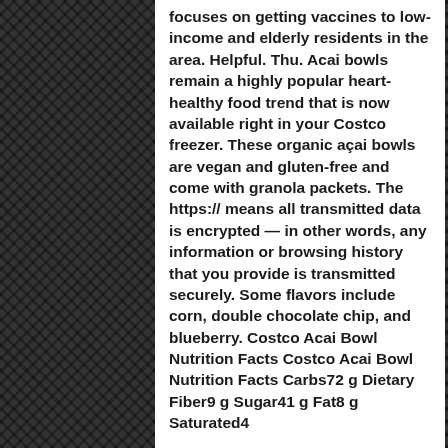focuses on getting vaccines to low-income and elderly residents in the area. Helpful. Thu. Acai bowls remain a highly popular heart-healthy food trend that is now available right in your Costco freezer. These organic açai bowls are vegan and gluten-free and come with granola packets. The https:// means all transmitted data is encrypted — in other words, any information or browsing history that you provide is transmitted securely. Some flavors include corn, double chocolate chip, and blueberry. Costco Acai Bowl Nutrition Facts Costco Acai Bowl Nutrition Facts Carbs72 g Dietary Fiber9 g Sugar41 g Fat8 g Saturated4